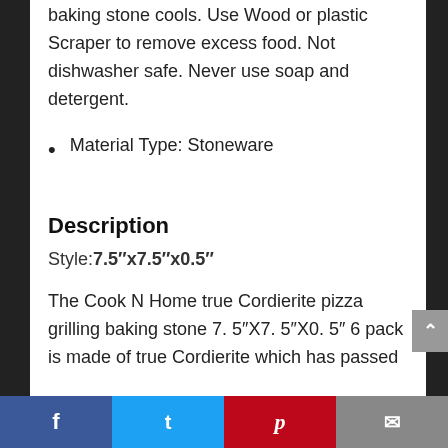Hand wash in clean water after baking stone cools. Use Wood or plastic Scraper to remove excess food. Not dishwasher safe. Never use soap and detergent.
Material Type: Stoneware
Description
Style: 7.5″x7.5″x0.5″
The Cook N Home true Cordierite pizza grilling baking stone 7. 5″X7. 5″X0. 5″ 6 pack is made of true Cordierite which has passed